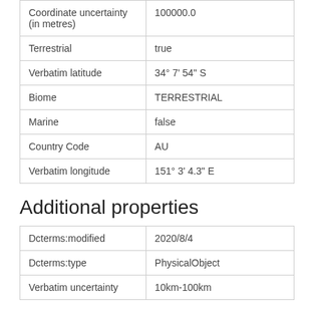| Coordinate uncertainty (in metres) | 100000.0 |
| Terrestrial | true |
| Verbatim latitude | 34° 7' 54" S |
| Biome | TERRESTRIAL |
| Marine | false |
| Country Code | AU |
| Verbatim longitude | 151° 3' 4.3" E |
Additional properties
| Dcterms:modified | 2020/8/4 |
| Dcterms:type | PhysicalObject |
| Verbatim uncertainty | 10km-100km |